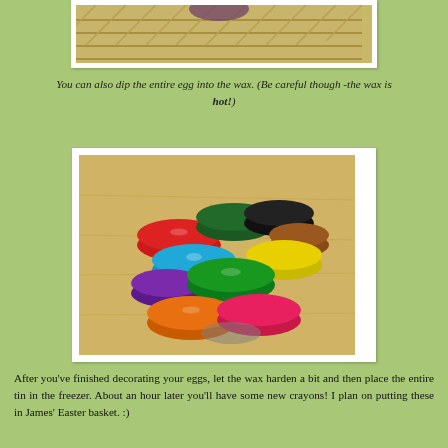[Figure (photo): Top-cropped photo showing eggs in a wicker basket on a green background]
You can also dip the entire egg into the wax. (Be careful though -the wax is hot!)
[Figure (photo): Photo of multiple colorful round wax discs (melted crayons) in various colors including red, blue, cyan, purple, green, yellow, black, orange, pink, arranged in a pile on a wooden surface]
After you've finished decorating your eggs, let the wax harden a bit and then place the entire tin in the freezer. About an hour later you'll have some new crayons! I plan on putting these in James' Easter basket. :)